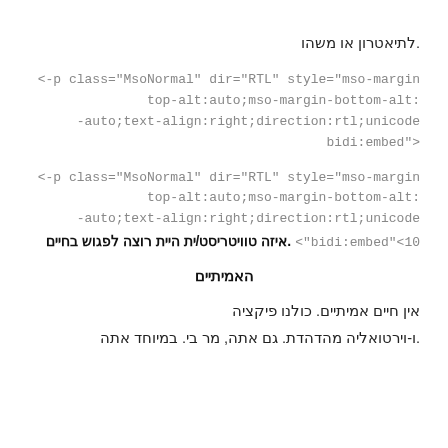לתיאטרון או משהו.
p class="MsoNormal" dir="RTL" style="mso-margin->
:top-alt:auto;mso-margin-bottom-alt
auto;text-align:right;direction:rtl;unicode-
<"bidi:embed
p class="MsoNormal" dir="RTL" style="mso-margin->
:top-alt:auto;mso-margin-bottom-alt
auto;text-align:right;direction:rtl;unicode-
10">bidi:embed". איזה טוויטריסט/ית היית רוצה לפגוש בחיים
האמיתיים
אין חיים אמיתיים. כולנו פיקציה
ו-וירטואליה מהדהדת. גם אתה, מר בי. במיוחד אתה.